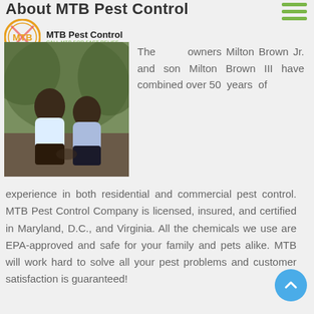About MTB Pest Control
[Figure (logo): MTB Pest Control logo with circular icon and company name]
[Figure (photo): Photo of two men (Milton Brown Jr. and Milton Brown III) sitting together outdoors]
The owners Milton Brown Jr. and son Milton Brown III have combined over 50 years of experience in both residential and commercial pest control. MTB Pest Control Company is licensed, insured, and certified in Maryland, D.C., and Virginia. All the chemicals we use are EPA-approved and safe for your family and pets alike. MTB will work hard to solve all your pest problems and customer satisfaction is guaranteed!